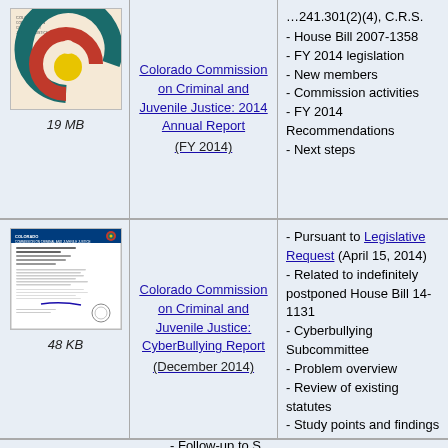[Figure (illustration): Cover of Colorado Commission on Criminal and Juvenile Justice 2014 Annual Report, showing Colorado state logo with red, teal, and yellow circular design]
19 MB
Colorado Commission on Criminal and Juvenile Justice: 2014 Annual Report (FY 2014)
- House Bill 2007-1358
- FY 2014 legislation
- New members
- Commission activities
- FY 2014 Recommendations
- Next steps
[Figure (photo): Thumbnail of the Colorado Commission on Criminal and Juvenile Justice CyberBullying Report document]
48 KB
Colorado Commission on Criminal and Juvenile Justice: CyberBullying Report (December 2014)
- Pursuant to Legislative Request (April 15, 2014)
- Related to indefinitely postponed House Bill 14-1131
- Cyberbullying Subcommittee
- Problem overview
- Review of existing statutes
- Study points and findings